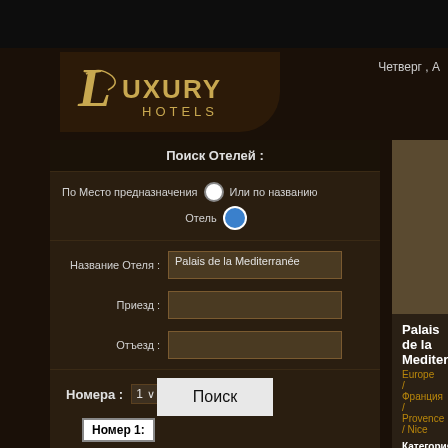[Figure (logo): Luxury Hotels logo with decorative L script and gold text]
Четверг , А
Поиск Отелей :
По Место предназначения  Или по названию  Отель
Название Отеля : Palais de la Mediterranée
Приезд :
Отъезд :
Номера : 1
Номер 1:
Взрослые : 1   Дети : 0
Поиск
Palais de la Mediterranée
Europe / Франция / Provence / Nice
Категория:
Тип: Hotel
Сеть: The Leading Hotels of the Wo
Адрес :
Удобства:
Имущество:
Open All Year... The Palais de la Me stone throw away from the Cote d' A that features a multitude of fabulous